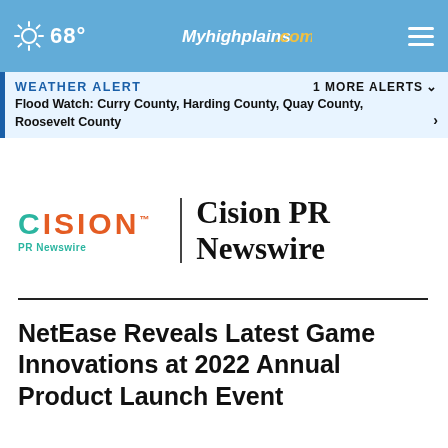68° Myhighplains.com
WEATHER ALERT  1 MORE ALERTS  Flood Watch: Curry County, Harding County, Quay County, Roosevelt County
[Figure (logo): Cision PR Newswire logo with teal CISION wordmark, orange PR Newswire text, vertical divider, and bold serif Cision PR Newswire text]
NetEase Reveals Latest Game Innovations at 2022 Annual Product Launch Event